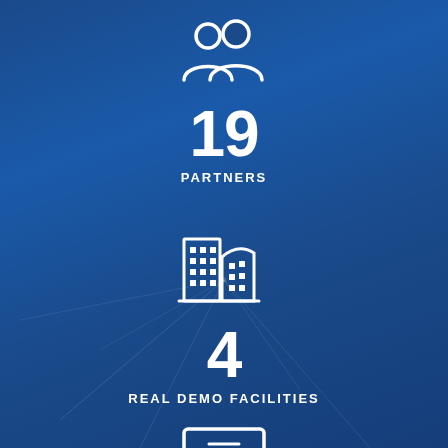[Figure (infographic): White icon of two people (partners/group) on blue background]
19
PARTNERS
[Figure (infographic): White icon of city buildings/facilities on blue background]
4
REAL DEMO FACILITIES
[Figure (infographic): White icon partially visible at bottom, appears to be a screen or monitor icon]